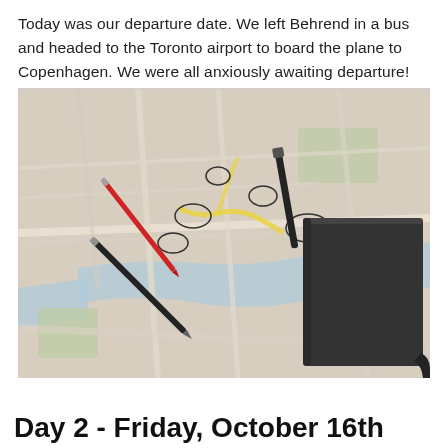Today was our departure date. We left Behrend in a bus and headed to the Toronto airport to board the plane to Copenhagen. We were all anxiously awaiting departure!
[Figure (photo): A city map spread on a table with pens and a black notebook/wallet on top of it. The map appears to be of Copenhagen with circled locations and yellow highlighted routes.]
Day 2 - Friday, October 16th